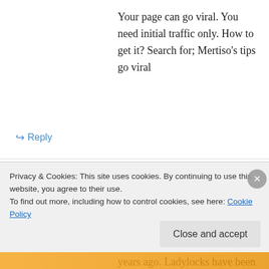Your page can go viral. You need initial traffic only. How to get it? Search for; Mertiso's tips go viral
↪ Reply
Wendy Pop on November 22, 2017 at 7:45 am
Thank you for sharing and cracking the code!!! We moved to Tampa from Pittsburgh three years ago. Ladylocks have been a staple of every holiday and wedding in my family. (Well, 99.9%
Privacy & Cookies: This site uses cookies. By continuing to use this website, you agree to their use.
To find out more, including how to control cookies, see here: Cookie Policy
Close and accept